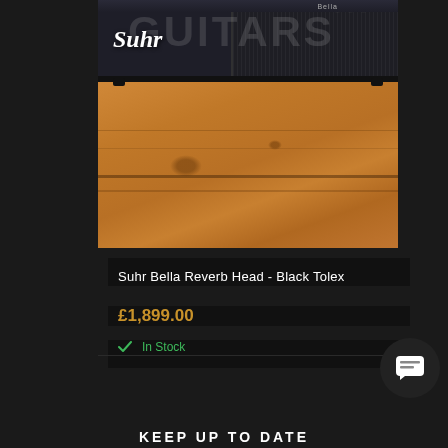[Figure (photo): Suhr Bella Reverb Head amplifier in black tolex finish, photographed from above on a wooden plank surface. The amp head shows the Suhr logo on the left and a grille cloth panel on the right side. A watermark reading 'GUITARS' is overlaid on the image.]
Suhr Bella Reverb Head - Black Tolex
£1,899.00
In Stock
KEEP UP TO DATE